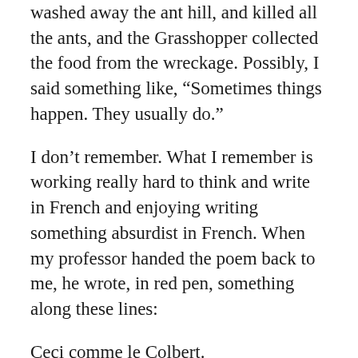washed away the ant hill, and killed all the ants, and the Grasshopper collected the food from the wreckage. Possibly, I said something like, “Sometimes things happen. They usually do.”
I don’t remember. What I remember is working really hard to think and write in French and enjoying writing something absurdist in French. When my professor handed the poem back to me, he wrote, in red pen, something along these lines:
Ceci comme le Colbert.
Which blew my mind. My French professor watched the Colbert Report! And he thought of it while reading a poem in French!